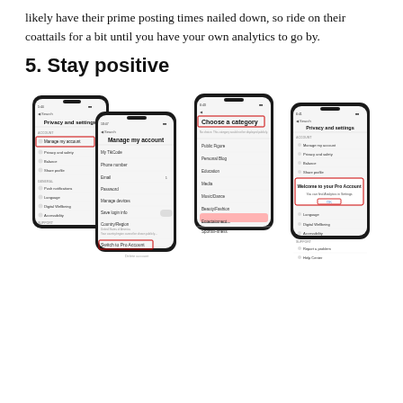likely have their prime posting times nailed down, so ride on their coattails for a bit until you have your own analytics to go by.
5. Stay positive
[Figure (screenshot): Four smartphone screenshots showing TikTok app settings screens: (1) Privacy and settings screen with 'Manage my account' highlighted in red box, (2) Manage my account screen with 'Switch to Pro Account' highlighted in red box, (3) 'Choose a category' screen with category list, (4) Privacy and settings screen with a 'Welcome to your Pro Account' dialog box highlighted in red showing 'You can find Analytics in Settings' and an OK button.]